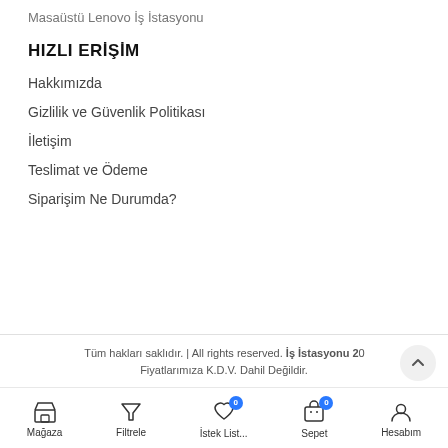Masaüstü Lenovo İş İstasyonu
HIZLI ERİŞİM
Hakkımızda
Gizlilik ve Güvenlik Politikası
İletişim
Teslimat ve Ödeme
Siparişim Ne Durumda?
Tüm hakları saklıdır. | All rights reserved. İş İstasyonu 2024 Fiyatlarımıza K.D.V. Dahil Değildir.
Mağaza  Filtrele  İstek List...  Sepet  Hesabım